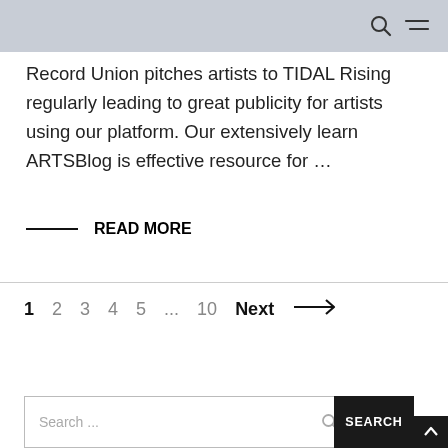Record Union pitches artists to TIDAL Rising regularly leading to great publicity for artists using our platform. Our extensively learn ARTSBlog is effective resource for ...
READ MORE
1  2  3  4  5  ...  10  Next →